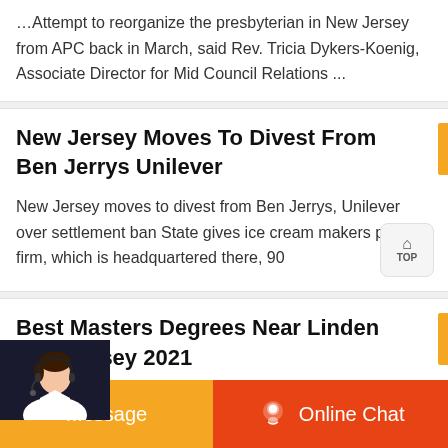…Attempt to reorganize the presbyterian in New Jersey from APC back in March, said Rev. Tricia Dykers-Koenig, Associate Director for Mid Council Relations ...
New Jersey Moves To Divest From Ben Jerrys Unilever
New Jersey moves to divest from Ben Jerrys, Unilever over settlement ban State gives ice cream makers parent firm, which is headquartered there, 90
Best Masters Degrees Near Linden New Jersey 2021
DeVry University-New Jersey is an accredited for profit school that offers masters degree programs near Linden, New Jersey. Most of the students are a mixture of traditional and adult aged and no programs
Message
Online Chat